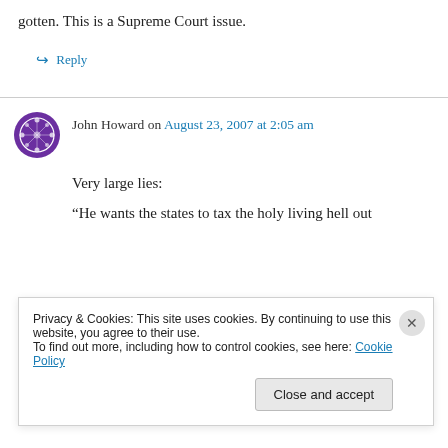gotten. This is a Supreme Court issue.
↪ Reply
John Howard on August 23, 2007 at 2:05 am
Very large lies:
“He wants the states to tax the holy living hell out
Privacy & Cookies: This site uses cookies. By continuing to use this website, you agree to their use. To find out more, including how to control cookies, see here: Cookie Policy
Close and accept